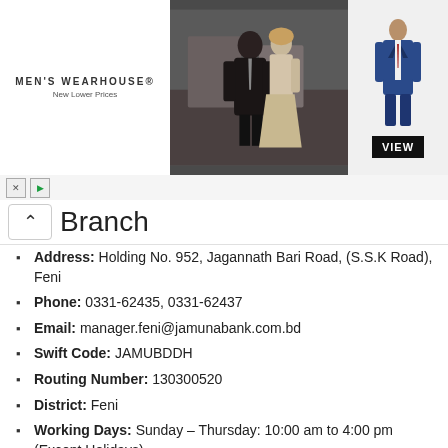[Figure (photo): Men's Wearhouse advertisement banner showing a couple in formal wedding attire and a man in a blue suit with a VIEW button]
Branch
Address: Holding No. 952, Jagannath Bari Road, (S.S.K Road), Feni
Phone: 0331-62435, 0331-62437
Email: manager.feni@jamunabank.com.bd
Swift Code: JAMUBDDH
Routing Number: 130300520
District: Feni
Working Days: Sunday – Thursday: 10:00 am to 4:00 pm (Except Holidays)